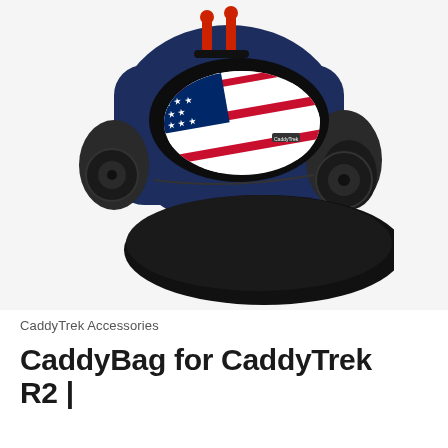[Figure (photo): A navy blue CaddyBag (carrying bag) shown open, with a red, white and blue American flag patterned CaddyTrek R2 golf caddy folded inside. The bag has red-tipped handles visible at the top, rubber wheels visible on the left side, and a large black flap/lid open at the front revealing the interior.]
CaddyTrek Accessories
CaddyBag for CaddyTrek R2 |